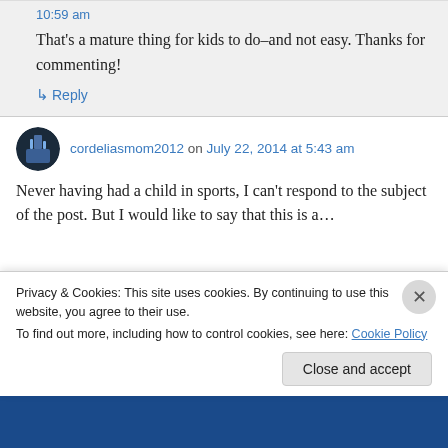10:59 am
That's a mature thing for kids to do–and not easy. Thanks for commenting!
↳ Reply
cordeliasmom2012 on July 22, 2014 at 5:43 am
Never having had a child in sports, I can't respond to the subject of the post. But I would like to say that this is a...
Privacy & Cookies: This site uses cookies. By continuing to use this website, you agree to their use.
To find out more, including how to control cookies, see here: Cookie Policy
Close and accept